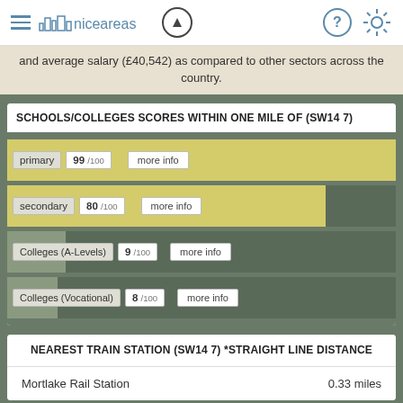niceareas
and average salary (£40,542) as compared to other sectors across the country.
SCHOOLS/COLLEGES SCORES WITHIN ONE MILE OF (SW14 7)
[Figure (bar-chart): Schools/Colleges Scores Within One Mile of (SW14 7)]
NEAREST TRAIN STATION (SW14 7) *STRAIGHT LINE DISTANCE
| Station | Distance |
| --- | --- |
| Mortlake Rail Station | 0.33 miles |